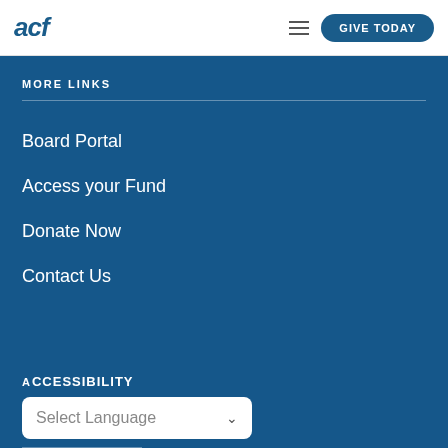acf | GIVE TODAY
MORE LINKS
Board Portal
Access your Fund
Donate Now
Contact Us
Select Language